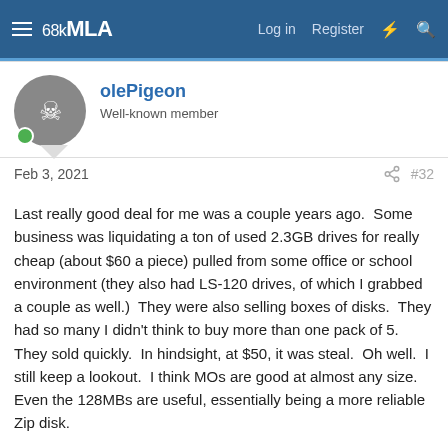68kMLA  Log in  Register
olePigeon
Well-known member
Feb 3, 2021   #32
Last really good deal for me was a couple years ago.  Some business was liquidating a ton of used 2.3GB drives for really cheap (about $60 a piece) pulled from some office or school environment (they also had LS-120 drives, of which I grabbed a couple as well.)  They were also selling boxes of disks.  They had so many I didn't think to buy more than one pack of 5.  They sold quickly.  In hindsight, at $50, it was steal.  Oh well.  I still keep a lookout.  I think MOs are good at almost any size.  Even the 128MBs are useful, essentially being a more reliable Zip disk.
Also, I like that many of the companies produced cool looking